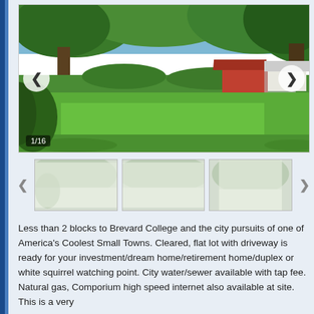[Figure (photo): Outdoor property photo showing a flat green lawn with large mature trees in the foreground, a red building visible in the background, image slider showing 1/16]
[Figure (photo): Thumbnail row with three small faded/washed-out property photos and left/right navigation arrows]
Less than 2 blocks to Brevard College and the city pursuits of one of America's Coolest Small Towns. Cleared, flat lot with driveway is ready for your investment/dream home/retirement home/duplex or white squirrel watching point. City water/sewer available with tap fee. Natural gas, Comporium high speed internet also available at site. This is a very